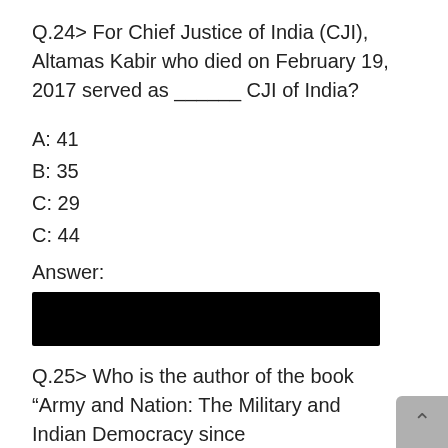Q.24> For Chief Justice of India (CJI), Altamas Kabir who died on February 19, 2017 served as ______ CJI of India?
A: 41
B: 35
C: 29
C: 44
Answer:
[Figure (other): Black redacted answer box]
Q.25> Who is the author of the book “Army and Nation: The Military and Indian Democracy since Independence”?